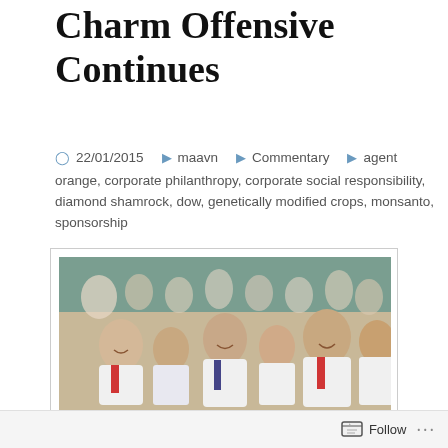Charm Offensive Continues
22/01/2015   maavn   Commentary   agent orange, corporate philanthropy, corporate social responsibility, diamond shamrock, dow, genetically modified crops, monsanto, sponsorship
[Figure (photo): Group of Vietnamese schoolchildren smiling at camera, wearing white shirts and red neck scarves]
Courtesy of Monsanto